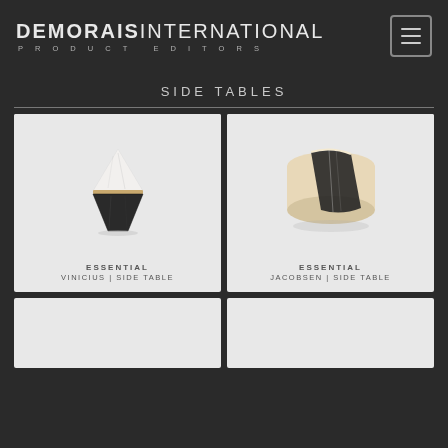[Figure (logo): DEMORAIS INTERNATIONAL PRODUCT EDITORS logo in white/grey on dark background with hamburger menu icon]
SIDE TABLES
[Figure (photo): Essential Vinicius side table - hourglass shaped marble table with white top and black base with gold band]
ESSENTIAL
VINICIUS | SIDE TABLE
[Figure (photo): Essential Jacobsen side table - cylindrical marble side table with black and white marble curved form]
ESSENTIAL
JACOBSEN | SIDE TABLE
[Figure (photo): Partially visible product card bottom row left]
[Figure (photo): Partially visible product card bottom row right]